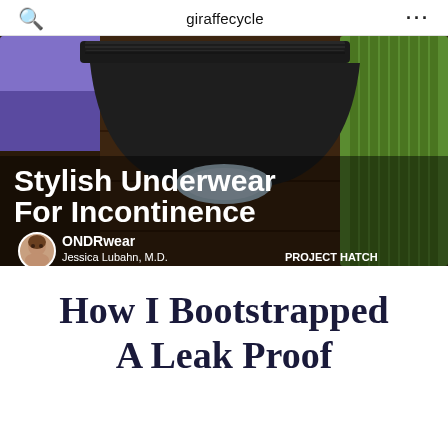giraffecycle
[Figure (photo): A product photo showing black incontinence underwear on a wooden surface with yoga mats (purple, green) in the background. Overlaid text reads 'Stylish Underwear For Incontinence' with ONDRwear branding, photo of Jessica Lubahn M.D., and PROJECT HATCH label.]
How I Bootstrapped A Leak Proof